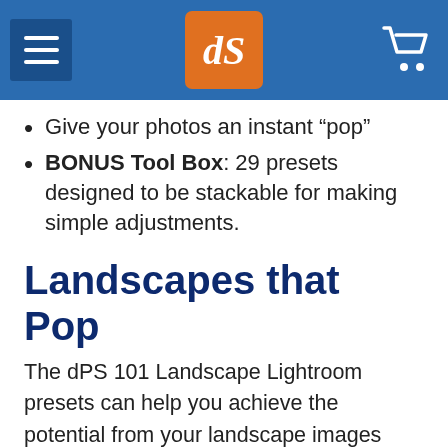dPS navigation bar with hamburger menu, dPS logo, and cart icon
Give your photos an instant “pop”
BONUS Tool Box: 29 presets designed to be stackable for making simple adjustments.
Landscapes that Pop
The dPS 101 Landscape Lightroom presets can help you achieve the potential from your landscape images more fully by accentuating the mood and tonal qualities of each season, lighting and weather conditions. With over 100 preset options, you can quickly gain results that make your photos truly pop and convey the strongest visual messages. Programmed for summer, autumn,